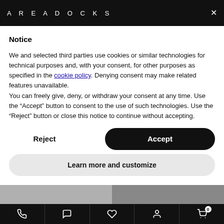AREADOCKS
Notice
We and selected third parties use cookies or similar technologies for technical purposes and, with your consent, for other purposes as specified in the cookie policy. Denying consent may make related features unavailable.
You can freely give, deny, or withdraw your consent at any time. Use the “Accept” button to consent to the use of such technologies. Use the “Reject” button or close this notice to continue without accepting.
Reject
Accept
Learn more and customize
phone chat wishlist account cart 0